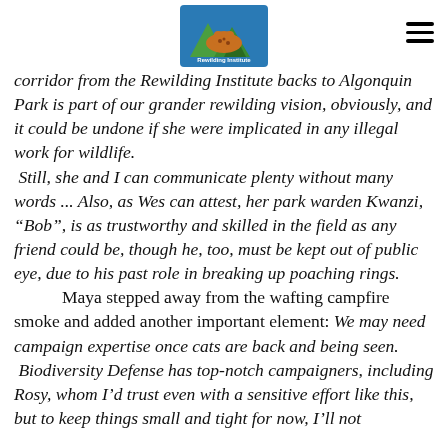[Rewilding Institute logo] [hamburger menu]
corridor from the Rewilding Institute backs to Algonquin Park is part of our grander rewilding vision, obviously, and it could be undone if she were implicated in any illegal work for wildlife.  Still, she and I can communicate plenty without many words ... Also, as Wes can attest, her park warden Kwanzi, “Bob”, is as trustworthy and skilled in the field as any friend could be, though he, too, must be kept out of public eye, due to his past role in breaking up poaching rings.
Maya stepped away from the wafting campfire smoke and added another important element: We may need campaign expertise once cats are back and being seen.  Biodiversity Defense has top-notch campaigners, including Rosy, whom I’d trust even with a sensitive effort like this, but to keep things small and tight for now, I’ll not